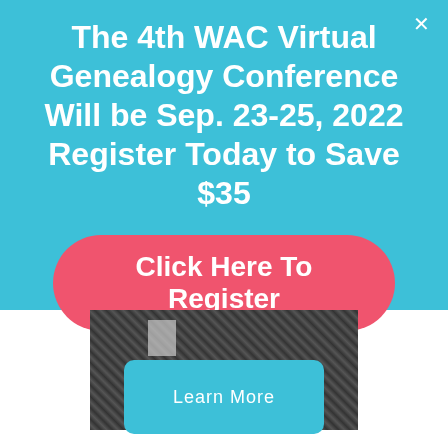The 4th WAC Virtual Genealogy Conference Will be Sep. 23-25, 2022 Register Today to Save $35
Click Here To Register
[Figure (photo): Black and white landscape photo with text overlay reading MOISES GARZA]
Learn More